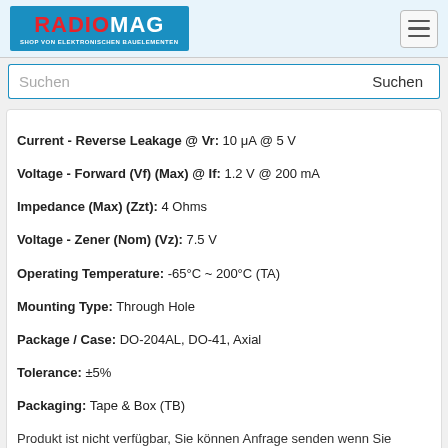RADIOMAG - SHOP VON ELEKTRONISCHEN BAUELEMENTEN
Suchen
Current - Reverse Leakage @ Vr: 10 μA @ 5 V
Voltage - Forward (Vf) (Max) @ If: 1.2 V @ 200 mA
Impedance (Max) (Zzt): 4 Ohms
Voltage - Zener (Nom) (Vz): 7.5 V
Operating Temperature: -65°C ~ 200°C (TA)
Mounting Type: Through Hole
Package / Case: DO-204AL, DO-41, Axial
Tolerance: ±5%
Packaging: Tape & Box (TB)
Produkt ist nicht verfügbar, Sie können Anfrage senden wenn Sie Produkt in den Warenkorb hinzufügen
kaufen
BZX55C2V7 A0G
[Figure (illustration): PDF icon with red document symbol]
[Figure (photo): Electronic component diode image partially visible]